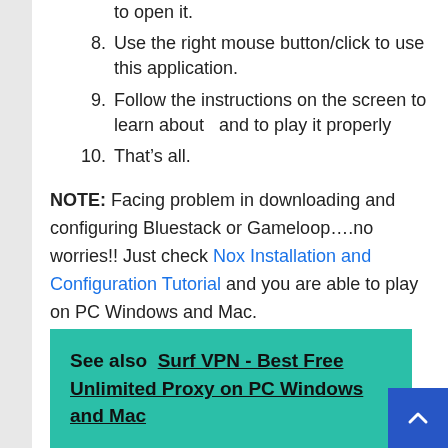to open it.
8. Use the right mouse button/click to use this application.
9. Follow the instructions on the screen to learn about  and to play it properly
10. That’s all.
NOTE: Facing problem in downloading and configuring Bluestack or Gameloop….no worries!! Just check Nox Installation and Configuration Tutorial and you are able to play on PC Windows and Mac.
See also  Surf VPN - Best Free Unlimited Proxy on PC Windows and Mac